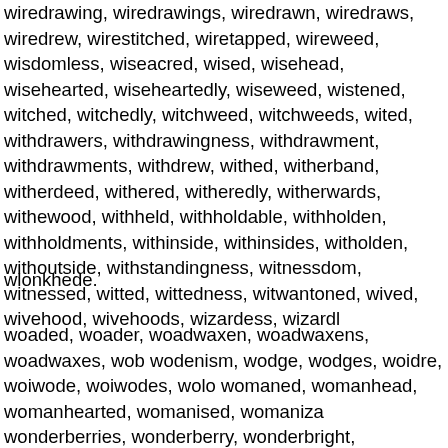wiredrawing, wiredrawings, wiredrawn, wiredraws, wiredrew, wirestitched, wiretapped, wireweed, wisdomless, wiseacred, wised, wisehead, wisehearted, wiseheartedly, wiseweed, wistened, witched, witchedly, witchweed, witchweeds, wited, withdrawers, withdrawingness, withdrawment, withdrawments, withdrew, withed, witherband, witherdeed, withered, witheredly, witherwards, withewood, withheld, withholdable, withholden, withholdments, withinside, withinsides, witholden, withoutside, withstandingness, witnessdom, witnessed, witted, wittedness, witwantoned, wived, wivehood, wivehoods, wizardess, wizardly.
wlonkhede.
woaded, woader, woadwaxen, woadwaxens, woadwaxes, wodenism, wodge, wodges, woidre, woiwode, woiwodes, womaned, womanhead, womanhearted, womanised, womaniza, wonderberries, wonderberry, wonderbright, wondercraft, wonderful, wonderfuller, wonderfully, wonderfulness, wonderfu, wonderings, wonderland, wonderlandish, wonderlands, wonderments, wondermonger, wondermongering, wondermon, wonders, wondersmith, wondersome, wonderstrong, wonderst, wonderworker, wonderworkers, wonderworking, wonderworks, wondrousness, wondrousnesses, wongied, wonned, wonted, woodagate, woodbine, woodbined, woodbines, woodborer, woodburytypes, woodcarver, woodcarvers, woodchopper, woodcrafter, woodcrafters, woodcraftiness, woodcraftsmen.